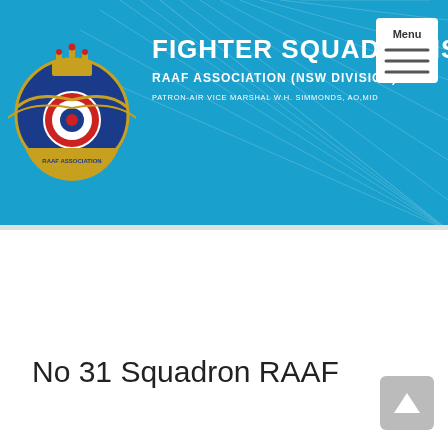[Figure (logo): RAAF Association badge/crest with eagle, crown, and circular emblem on blue background]
Fighter Squadrons Branch
RAAF Association (NSW Division)
Patron-Air Vice Marshal W.H. Simmonds, AO,MID
No 31 Squadron RAAF